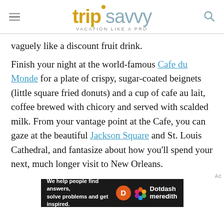tripsavvy VACATION LIKE A PRO
vaguely like a discount fruit drink.
Finish your night at the world-famous Cafe du Monde for a plate of crispy, sugar-coated beignets (little square fried donuts) and a cup of cafe au lait, coffee brewed with chicory and served with scalded milk. From your vantage point at the Cafe, you can gaze at the beautiful Jackson Square and St. Louis Cathedral, and fantasize about how you'll spend your next, much longer visit to New Orleans.
[Figure (other): Dotdash Meredith advertisement banner: 'We help people find answers, solve problems and get inspired.']